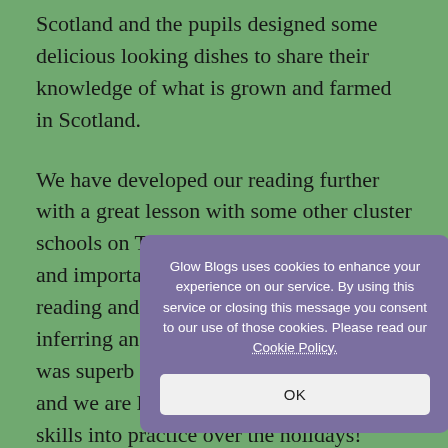Scotland and the pupils designed some delicious looking dishes to share their knowledge of what is grown and farmed in Scotland.
We have developed our reading further with a great lesson with some other cluster schools on Teams. Pupils learned the art and importance of questioning throughout reading and there were great links to our inferring and predicting lessons! The story was superb and engaged everyone well and we are looking forward to putting our skills into practice over the holidays!
Thank you to all our amazing parents for your
Glow Blogs uses cookies to enhance your experience on our service. By using this service or closing this message you consent to our use of those cookies. Please read our Cookie Policy.
OK